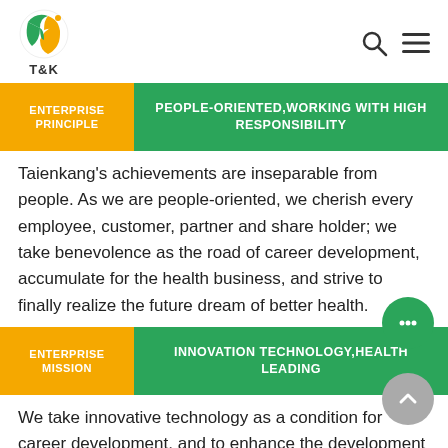[Figure (logo): T&K company logo with circular icon and T&K text below]
ENTERPRISE PRINCIPLE | PEOPLE-ORIENTED,WORKING WITH HIGH RESPONSIBILITY
Taienkang's achievements are inseparable from people. As we are people-oriented, we cherish every employee, customer, partner and share holder; we take benevolence as the road of career development, accumulate for the health business, and strive to finally realize the future dream of better health.
ENTERPRISE MISSION | INNOVATION TECHNOLOGY,HEALTH LEADING
We take innovative technology as a condition for career development, and to enhance the development level and